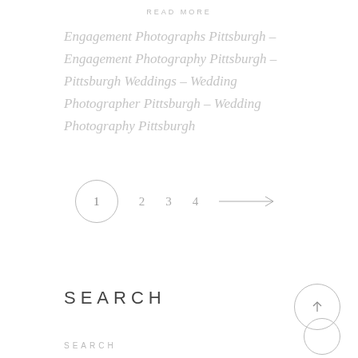READ MORE
Engagement Photographs Pittsburgh – Engagement Photography Pittsburgh – Pittsburgh Weddings – Wedding Photographer Pittsburgh – Wedding Photography Pittsburgh
1  2  3  4  →
SEARCH
SEARCH